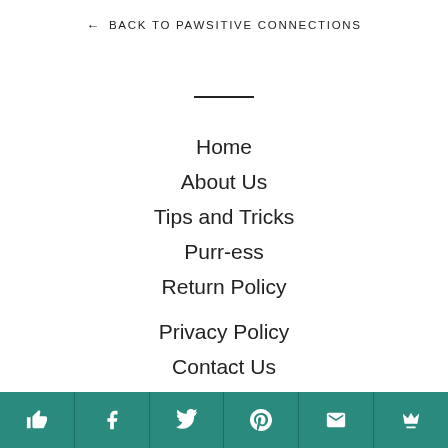← BACK TO PAWSITIVE CONNECTIONS
Home
About Us
Tips and Tricks
Purr-ess
Return Policy
Privacy Policy
Contact Us
Search
Terms of Service
Shares